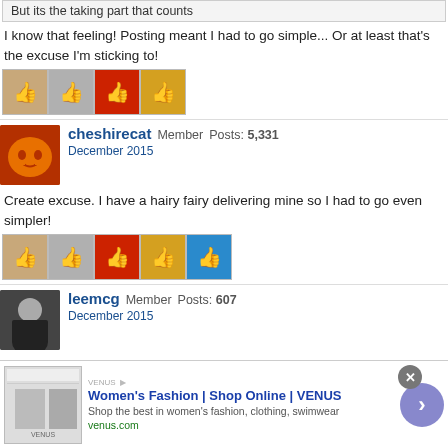But its the taking part that counts
I know that feeling! Posting meant I had to go simple... Or at least that's the excuse I'm sticking to!
[Figure (other): Four like/thumbs-up reaction icons from different users]
cheshirecat Member Posts: 5,331 December 2015
Create excuse. I have a hairy fairy delivering mine so I had to go even simpler!
[Figure (other): Five like/thumbs-up reaction icons from different users]
leemcg Member Posts: 607 December 2015
A great first day of showing the wonderful windows. Unfortunately two are delayed until tomorrow, but the rest have had plenty of interest  - nearly 600 votes today
[Figure (other): Advertisement banner: Women's Fashion | Shop Online | VENUS]